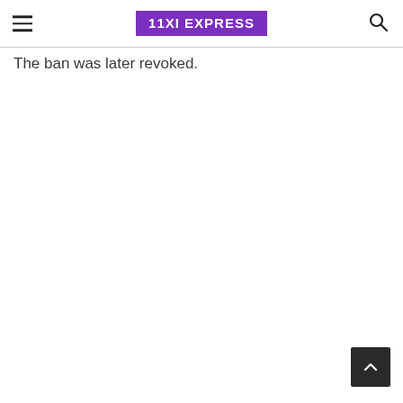11XI EXPRESS
The ban was later revoked.